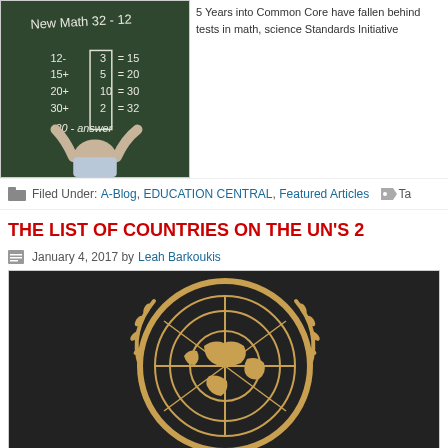[Figure (photo): Child facing a blackboard with math equations written in chalk, including 'New Math 32-12']
5 Years into Common Core have fallen behind tests in math, science Standards Initiative
Filed Under: A-Blog, EDUCATION CENTRAL, Featured Articles  Tags
THE LIST OF COUNTRIES ON THE UN'S 2...
January 4, 2017 by Leah Barkoukis
[Figure (photo): Close-up of the United Nations emblem/logo in gold/bronze color showing the world map surrounded by olive branches]